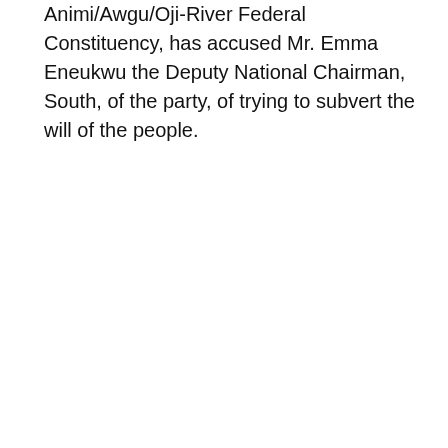Animi/Awgu/Oji-River Federal Constituency, has accused Mr. Emma Eneukwu the Deputy National Chairman, South, of the party, of trying to subvert the will of the people.